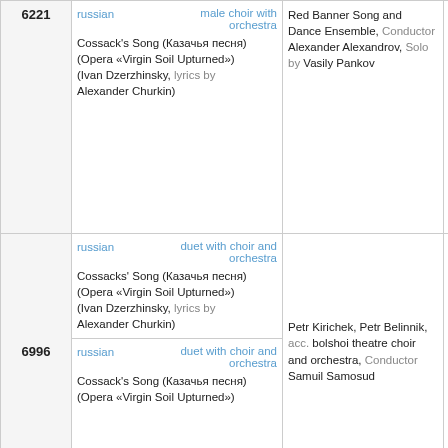| ID | Language / Song | Performer | Date/Place |
| --- | --- | --- | --- |
| 6221 | russian | male choir with orchestra
Cossack's Song (Казачья песня) (Opera «Virgin Soil Upturned») (Ivan Dzerzhinsky, lyrics by Alexander Churkin) | Red Banner Song and Dance Ensemble, Conductor Alexander Alexandrov, Solo by Vasily Pankov | 29-11- Mosco |
| 6996 | russian | duet with choir and orchestra
Cossacks' Song (Казачья песня) (Opera «Virgin Soil Upturned») (Ivan Dzerzhinsky, lyrics by Alexander Churkin)
---
russian | duet with choir and orchestra
Cossack's Song (Казачья песня) (Opera «Virgin Soil Upturned») | Petr Kirichek, Petr Belinnik, acc. bolshoi theatre choir and orchestra, Conductor Samuil Samosud | 1938 Mosco |